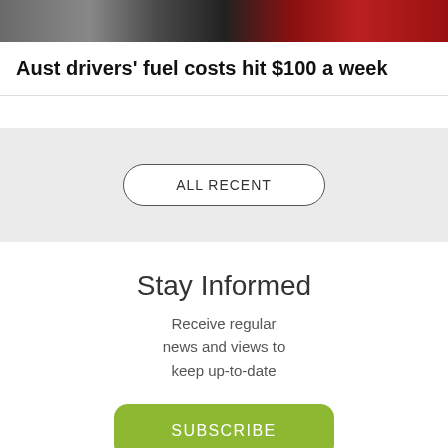[Figure (photo): Partial photo strip showing people and a red car tail light, cropped at top of page]
Aust drivers’ fuel costs hit $100 a week
ALL RECENT
Stay Informed
Receive regular news and views to keep up-to-date
SUBSCRIBE